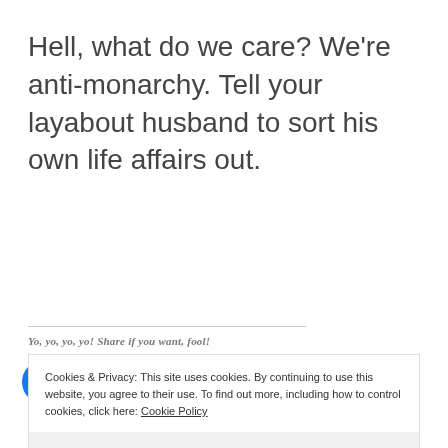Hell, what do we care? We're anti-monarchy. Tell your layabout husband to sort his own life affairs out.
Yo, yo, yo, yo! Share if you want, fool!
[Figure (infographic): Row of social share buttons: Facebook (blue circle), Twitter (cyan circle), LinkedIn (dark blue circle), WhatsApp (green circle), Reddit (light grey circle), Email (light grey circle)]
Loading...
Cookies & Privacy: This site uses cookies. By continuing to use this website, you agree to their use. To find out more, including how to control cookies, click here: Cookie Policy
Accept & Close